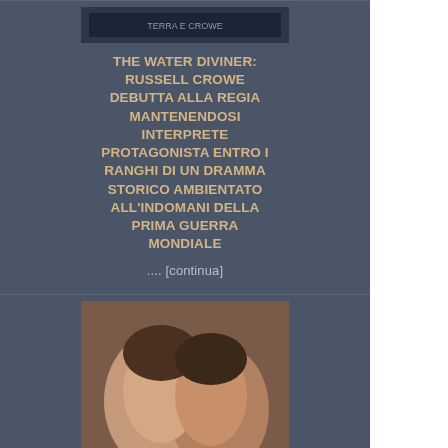[Figure (photo): Movie poster or image for The Water Diviner]
THE WATER DIVINER: RUSSELL CROWE DEBUTTA ALLA REGIA MANTENENDOSI INTERPRETE PROTAGONISTA ENTRO I RANGHI DI UN DRAMMA STORICO AMBIENTATO ALL'INDOMANI DELLA PRIMA GUERRA MONDIALE
.... [continua]
[Figure (photo): Movie poster for Padri e Figlie (Fathers and Daughters) showing two people facing each other]
PADRI E FIGLIE: NELLA NUOVA PELLICOLA DI GABRIELE MUCCINO AMANDA SEYFRIED E' LA FIGLIA DI RUSSELL CROWE
.... [continua]
[Figure (photo): Partial movie image at bottom of page]